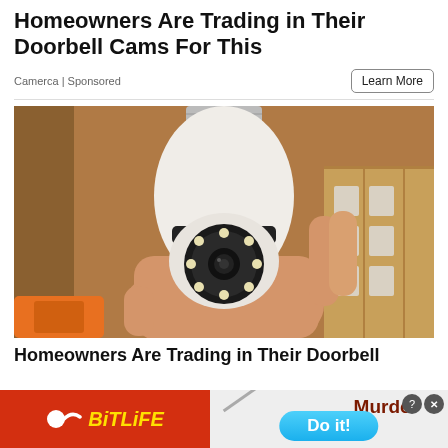Homeowners Are Trading in Their Doorbell Cams For This
Camerca | Sponsored
Learn More
[Figure (photo): A hand holding a light bulb-shaped security camera with LED night vision rings around the lens, against a cardboard box background with orange power tool visible at bottom left.]
Homeowners Are Trading in Their Doorbell
[Figure (screenshot): BitLife advertisement banner. Left half: red background with BitLife logo (yellow text with sperm icon). Right half: light gray background with 'Murder Do it!' text and a blue pill-shaped button, plus close/question buttons in top right corner.]